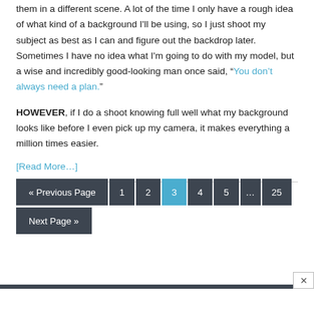them in a different scene. A lot of the time I only have a rough idea of what kind of a background I'll be using, so I just shoot my subject as best as I can and figure out the backdrop later. Sometimes I have no idea what I'm going to do with my model, but a wise and incredibly good-looking man once said, “You don’t always need a plan.”
HOWEVER, if I do a shoot knowing full well what my background looks like before I even pick up my camera, it makes everything a million times easier.
[Read More…]
« Previous Page  1  2  3  4  5  …  25  Next Page »